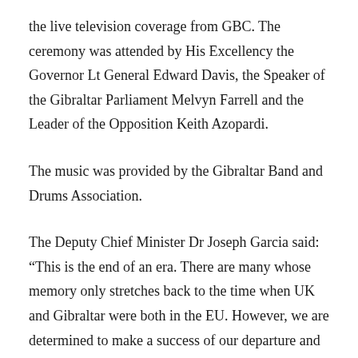the live television coverage from GBC. The ceremony was attended by His Excellency the Governor Lt General Edward Davis, the Speaker of the Gibraltar Parliament Melvyn Farrell and the Leader of the Opposition Keith Azopardi.
The music was provided by the Gibraltar Band and Drums Association.
The Deputy Chief Minister Dr Joseph Garcia said: “This is the end of an era. There are many whose memory only stretches back to the time when UK and Gibraltar were both in the EU. However, we are determined to make a success of our departure and to overcome any challenge that may come our way as we have done throughout our long and turbulent history. It is right and proper that we should intensify our relationship